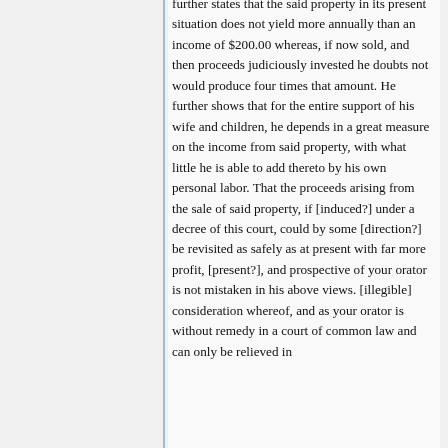further states that the said property in its present situation does not yield more annually than an income of $200.00 whereas, if now sold, and then proceeds judiciously invested he doubts not would produce four times that amount. He further shows that for the entire support of his wife and children, he depends in a great measure on the income from said property, with what little he is able to add thereto by his own personal labor. That the proceeds arising from the sale of said property, if [induced?] under a decree of this court, could by some [direction?] be revisited as safely as at present with far more profit, [present?], and prospective of your orator is not mistaken in his above views. [illegible] consideration whereof, and as your orator is without remedy in a court of common law and can only be relieved in